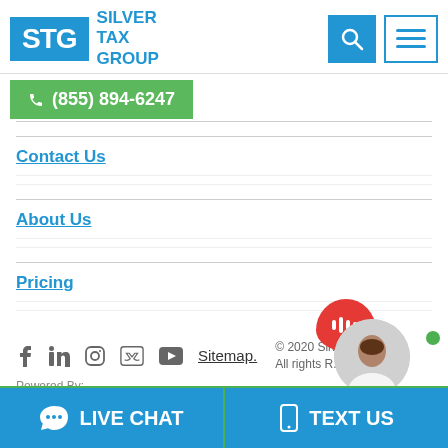[Figure (logo): Silver Tax Group logo with STG in blue box and company name]
(855) 894-6247
Contact Us
About Us
Pricing
[Figure (illustration): Live agent chat bubble with woman photo and Live Agent label]
© 2020 Silver Tax Group. All rights Reserved.
f  in  Instagram  Twitter  YouTube  Sitemap.
Powered By:
[Figure (logo): Direction logo in black bold text]
LIVE CHAT
TEXT US